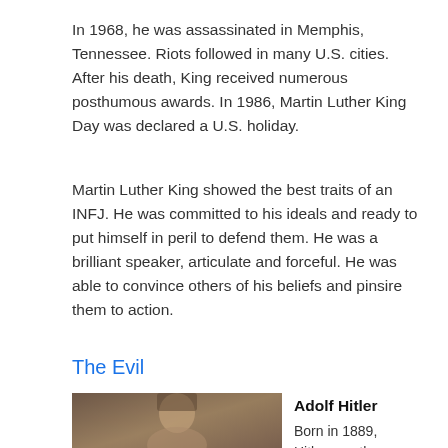In 1968, he was assassinated in Memphis, Tennessee. Riots followed in many U.S. cities. After his death, King received numerous posthumous awards. In 1986, Martin Luther King Day was declared a U.S. holiday.
Martin Luther King showed the best traits of an INFJ. He was committed to his ideals and ready to put himself in peril to defend them. He was a brilliant speaker, articulate and forceful. He was able to convince others of his beliefs and pinsire them to action.
The Evil
[Figure (photo): Portrait photograph of Adolf Hitler]
Adolf Hitler

Born in 1889, Hitler was the